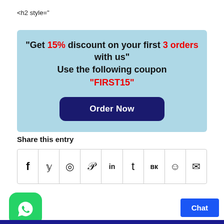<h2 style="
[Figure (infographic): Light blue promotional banner with bold text: "Get 15% discount on your first 3 orders with us" / Use the following coupon / "FIRST15" and a dark navy Order Now button]
Share this entry
[Figure (infographic): Row of social sharing icons: Facebook, Twitter, WhatsApp, Pinterest, LinkedIn, Tumblr, VK, Reddit, Email in bordered cells]
[Figure (logo): Green rounded square WhatsApp logo icon]
Chat